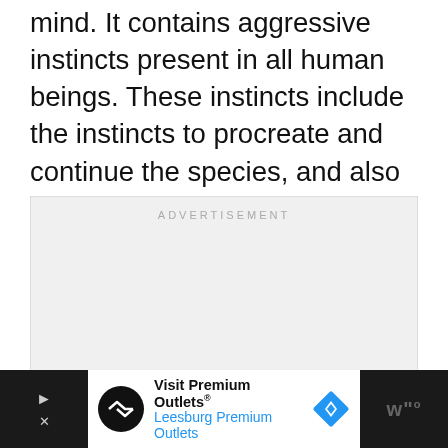mind. It contains aggressive instincts present in all human beings. These instincts include the instincts to procreate and continue the species, and also the desire to self-destruct and die. And you can't reason with the id. It doesn't change. It just wants to fulfill these desires.
[Figure (other): Advertisement placeholder box with light gray background and 'ADVERTISEMENT' label at top center]
[Figure (other): Bottom advertisement bar showing 'Visit Premium Outlets® Leesburg Premium Outlets' with circular logo, navigation arrow icon, and WW° logo on dark background]